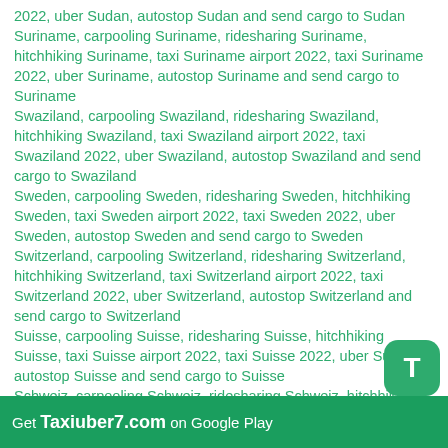2022, uber Sudan, autostop Sudan and send cargo to Sudan
Suriname, carpooling Suriname, ridesharing Suriname, hitchhiking Suriname, taxi Suriname airport 2022, taxi Suriname 2022, uber Suriname, autostop Suriname and send cargo to Suriname
Swaziland, carpooling Swaziland, ridesharing Swaziland, hitchhiking Swaziland, taxi Swaziland airport 2022, taxi Swaziland 2022, uber Swaziland, autostop Swaziland and send cargo to Swaziland
Sweden, carpooling Sweden, ridesharing Sweden, hitchhiking Sweden, taxi Sweden airport 2022, taxi Sweden 2022, uber Sweden, autostop Sweden and send cargo to Sweden
Switzerland, carpooling Switzerland, ridesharing Switzerland, hitchhiking Switzerland, taxi Switzerland airport 2022, taxi Switzerland 2022, uber Switzerland, autostop Switzerland and send cargo to Switzerland
Suisse, carpooling Suisse, ridesharing Suisse, hitchhiking Suisse, taxi Suisse airport 2022, taxi Suisse 2022, uber Suisse, autostop Suisse and send cargo to Suisse
Schweiz, carpooling Schweiz, ridesharing Schweiz, hitchhiking Schweiz, taxi Schweiz airport 2022, taxi Schweiz 2022, uber Schweiz, autostop Schweiz and
Get Taxiuber7.com on Google Play